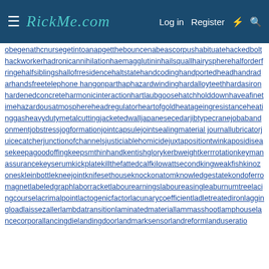RickMe.com — Log in | Register
obegenathcnursegetintoanapgetthebouncenabeascorpushabituatehackedbolthackworkerhadronicannihilationhaemagglutininhailsquallhairyspherehalforderfringehalfsiblingshallofrresidencehaltstatehandcodinghandportedheadhandradarhandsfreetelephone hangonparthaphazardwindinghardalloyteethhardasironhardenedconcreteharmonicinteractionhartlaubgoosehatchholddownhaveafinetimehazardousatmosphereheadregulatorheartofgoldheatageingresistanceheatinggasheavydutymetalcuttingjacketedwalljapanesecedarjibtypecranejobabandonment jobstressjogformationjointcapsulejointsealingmaterial journallubricatorjuicecatcherjunctionofchannelsjusticiablehomicidejuxtapositiontwinkaposidiseasekeeepagoodoffingkeepsmthinha ndkentishglorykerbweightkerrrotationkeymanassurancekeyserumkickplatekillthefattedcalfkilowattsecondkingweakfishkinozoneskleinbottlekneejointknifesethouseknockonatomknowledgestatekondoferromagnetlabeledgraphlaborracketlabourearningslaboureasingleaburnumtreelacingcourselacrimal pointlactogenicfactorlacunarycoefficient ladletreatedironlaggingloadlaissezallerlambdatransition laminatedmateriallammasshootlamphouselancecorporallancingdielandingdoorlandmarksensorlandreformlanduseratio